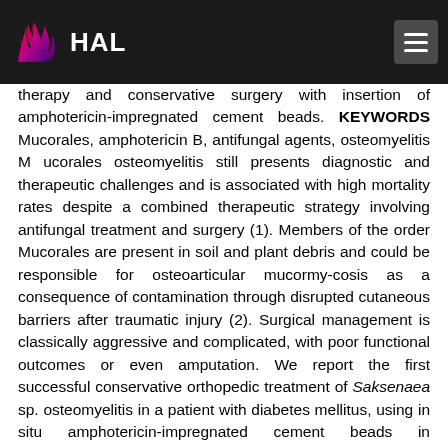HAL
therapy and conservative surgery with insertion of amphotericin-impregnated cement beads. KEYWORDS Mucorales, amphotericin B, antifungal agents, osteomyelitis M ucorales osteomyelitis still presents diagnostic and therapeutic challenges and is associated with high mortality rates despite a combined therapeutic strategy involving antifungal treatment and surgery (1). Members of the order Mucorales are present in soil and plant debris and could be responsible for osteoarticular mucormy-cosis as a consequence of contamination through disrupted cutaneous barriers after traumatic injury (2). Surgical management is classically aggressive and complicated, with poor functional outcomes or even amputation. We report the first successful conservative orthopedic treatment of Saksenaea sp. osteomyelitis in a patient with diabetes mellitus, using in situ amphotericin-impregnated cement beads in combination with systemic posaconazole therapy. A 63-year-old man was admitted for a painful and swollen right ankle. He had well-controlled diabetes mellitus, hypertension, and degenerative arthritis. He lived in France and had never travelled